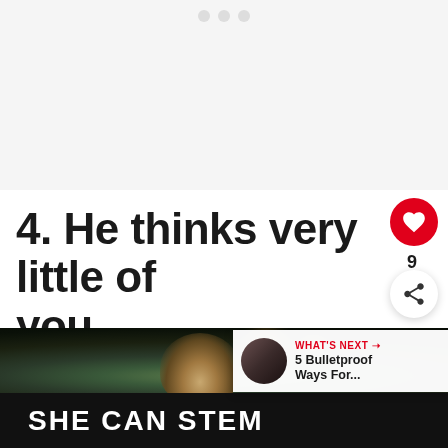[Figure (photo): Top image placeholder area with navigation dots]
4. He thinks very little of you
[Figure (photo): Photo of a man in a restaurant/cafe setting with a 'SHE CAN STEM' banner overlay and a 'WHAT'S NEXT' card showing '5 Bulletproof Ways For...']